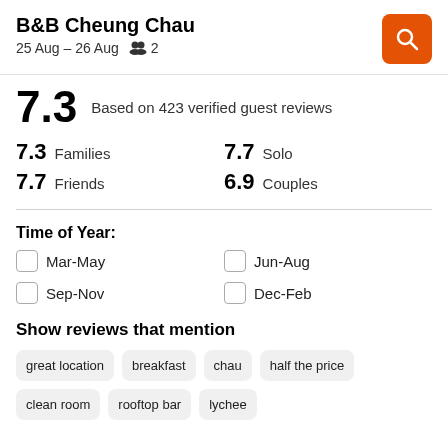B&B Cheung Chau
25 Aug – 26 Aug  2
7.3  Based on 423 verified guest reviews
7.3 Families  7.7 Solo
7.7 Friends  6.9 Couples
Time of Year:
Mar-May
Jun-Aug
Sep-Nov
Dec-Feb
Show reviews that mention
great location
breakfast
chau
half the price
clean room
rooftop bar
lychee